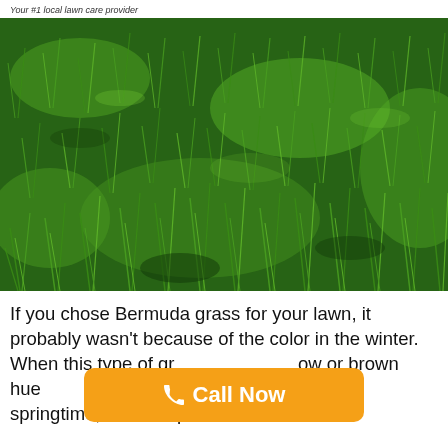Your #1 local lawn care provider
[Figure (photo): Close-up photograph of lush green Bermuda grass lawn]
If you chose Bermuda grass for your lawn, it probably wasn't because of the color in the winter. When this type of gr[ass turns to] ow or brown hue[s as it goes d] os it succeed in the springtime, so it's important to take the